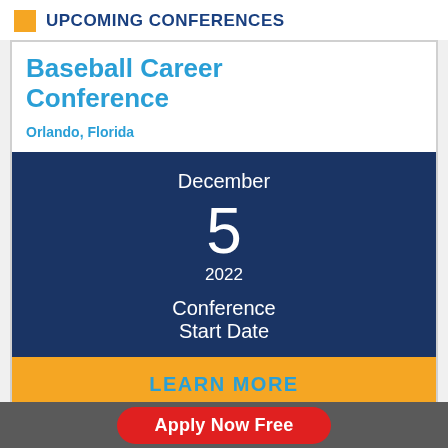UPCOMING CONFERENCES
Baseball Career Conference
Orlando, Florida
December
5
2022
Conference
Start Date
LEARN MORE
Success Stories
Apply Now Free